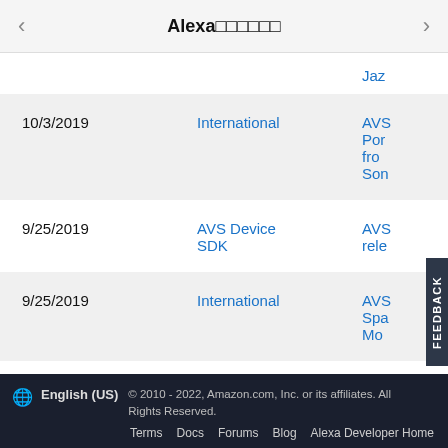Alexa□□□□□□
| Date | Category | Title (partial) |
| --- | --- | --- |
|  |  | Jaz |
| 10/3/2019 | International | AVS
Por
fro
Son |
| 9/25/2019 | AVS Device SDK | AVS
rele |
| 9/25/2019 | International | AVS
Spa
Mo |
English (US) © 2010 - 2022, Amazon.com, Inc. or its affiliates. All Rights Reserved. Terms Docs Forums Blog Alexa Developer Home